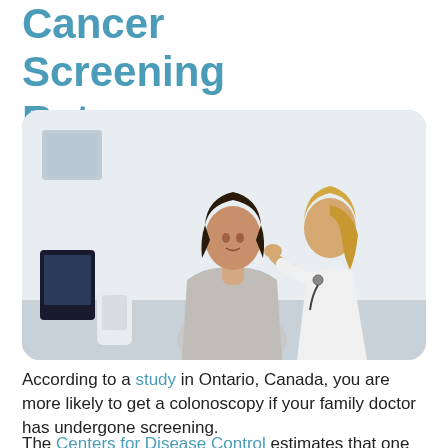Cancer Screening Rates
[Figure (photo): A female doctor in a white coat examining a female patient's neck/throat area in a clinical setting. The patient has dark hair and is wearing a light grey top. The doctor has blonde hair in a ponytail and is facing away from the camera.]
According to a study in Ontario, Canada, you are more likely to get a colonoscopy if your family doctor has undergone screening.
The Centers for Disease Control estimates that one out of three American adults who are due